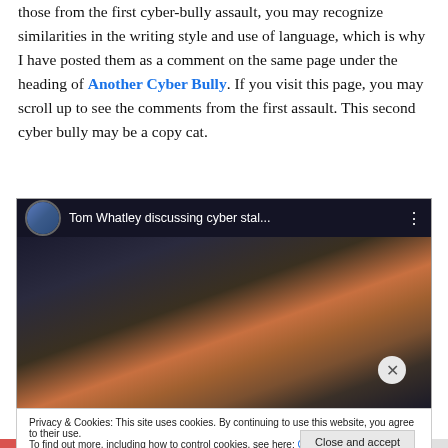those from the first cyber-bully assault, you may recognize similarities in the writing style and use of language, which is why I have posted them as a comment on the same page under the heading of Another Cyber Bully. If you visit this page, you may scroll up to see the comments from the first assault. This second cyber bully may be a copy cat.
[Figure (screenshot): Embedded video thumbnail showing 'Tom Whatley discussing cyber stal...' with a dark video player interface, avatar icon, and a blurred close-up face in the thumbnail background.]
Privacy & Cookies: This site uses cookies. By continuing to use this website, you agree to their use. To find out more, including how to control cookies, see here: Cookie Policy